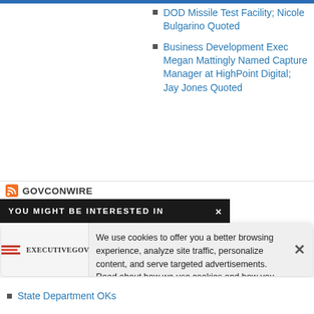DOD Missile Test Facility; Nicole Bulgarino Quoted
Business Development Exec Megan Mattingly Named Capture Manager at HighPoint Digital; Jay Jones Quoted
[Figure (screenshot): GOVCONWIRE section header with RSS icon]
YOU MIGHT BE INTERESTED IN
[Figure (logo): ExecutiveGov logo with American flag stripe lines]
We use cookies to offer you a better browsing experience, analyze site traffic, personalize content, and serve targeted advertisements. Read about how we use cookies and how you can control them on our Privacy Policy. If you continue to use this site, you consent to our use of cookies.
State Department OKs